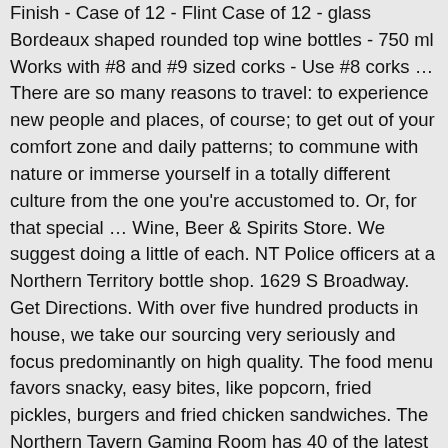Finish - Case of 12 - Flint Case of 12 - glass Bordeaux shaped rounded top wine bottles - 750 ml Works with #8 and #9 sized corks - Use #8 corks … There are so many reasons to travel: to experience new people and places, of course; to get out of your comfort zone and daily patterns; to commune with nature or immerse yourself in a totally different culture from the one you're accustomed to. Or, for that special … Wine, Beer & Spirits Store. We suggest doing a little of each. NT Police officers at a Northern Territory bottle shop. 1629 S Broadway. Get Directions. With over five hundred products in house, we take our sourcing very seriously and focus predominantly on high quality. The food menu favors snacky, easy bites, like popcorn, fried pickles, burgers and fried chicken sandwiches. The Northern Tavern Gaming Room has 40 of the latest Gaming Machines accompanied by complimentary tea & coffee. Contact The Bottle Shop on Messenger. We are in collaboration with some of our favorite local beer producers: Fullsteam Brewery and Botanist & Barrel. We aim to bring an elevated beer garden experience to the Durham and Triangle community with our seasonal, regionally inspired menu offering items like a fried chicken sandwich and side of fries, or a bella burger with a generous side of